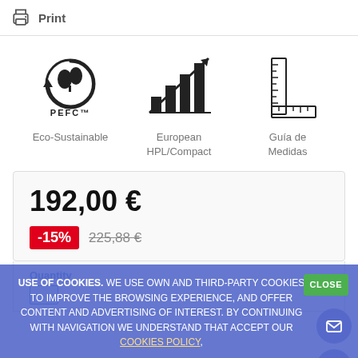[Figure (illustration): Print icon (printer) with label 'Print']
[Figure (logo): PEFC eco-sustainable logo with circular arrows and tree/leaf icon]
Eco-Sustainable
[Figure (illustration): Bar chart with upward arrow icon representing European HPL/Compact]
European HPL/Compact
[Figure (illustration): Ruler/measure guide icon representing Guía de Medidas]
Guía de Medidas
192,00 €
-15%  225,88 €
Quantity
USE OF COOKIES. WE USE OWN AND THIRD-PARTY COOKIES TO IMPROVE THE BROWSING EXPERIENCE, AND OFFER CONTENT AND ADVERTISING OF INTEREST. BY CONTINUING WITH NAVIGATION WE UNDERSTAND THAT ACCEPT OUR COOKIES POLICY,